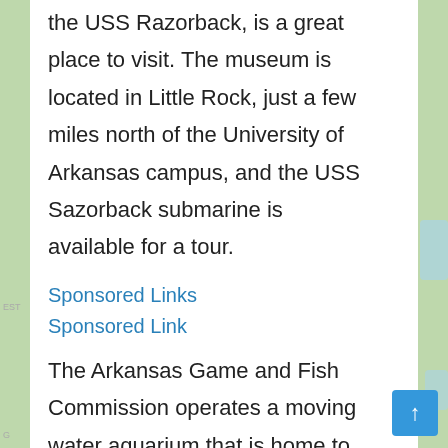the USS Razorback, is a great place to visit. The museum is located in Little Rock, just a few miles north of the University of Arkansas campus, and the USS Sazorback submarine is available for a tour.
Sponsored Links
Sponsored Link
The Arkansas Game and Fish Commission operates a moving water aquarium that is home to large fish and has a variety of aquariums, some of which have larger fish. The Arkansas Arts Center program, which is partially funded by the Arkansas